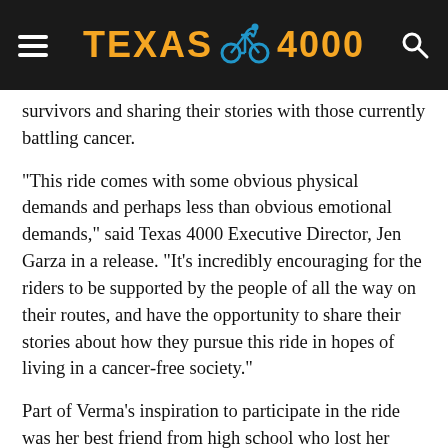TEXAS 4000
survivors and sharing their stories with those currently battling cancer.
“This ride comes with some obvious physical demands and perhaps less than obvious emotional demands,” said Texas 4000 Executive Director, Jen Garza in a release. “It’s incredibly encouraging for the riders to be supported by the people of all the way on their routes, and have the opportunity to share their stories about how they pursue this ride in hopes of living in a cancer-free society.”
Part of Verma’s inspiration to participate in the ride was her best friend from high school who lost her father to cancer. In a video posted on